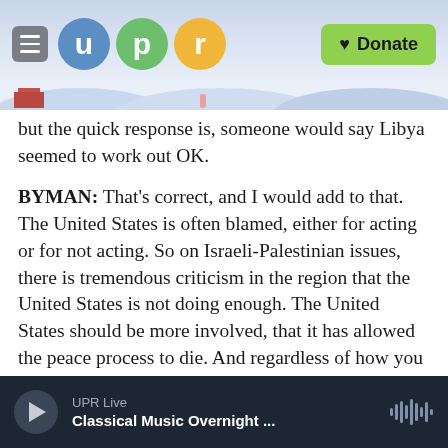UPR — Donate
but the quick response is, someone would say Libya seemed to work out OK.
BYMAN: That's correct, and I would add to that. The United States is often blamed, either for acting or for not acting. So on Israeli-Palestinian issues, there is tremendous criticism in the region that the United States is not doing enough. The United States should be more involved, that it has allowed the peace process to die. And regardless of how you feel about that particular issue, this is one of the problems of being a superpower. Where if you act, you will, of course, incur criticism. But if you
UPR Live — Classical Music Overnight ...